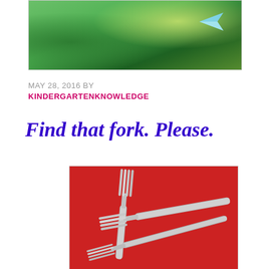[Figure (photo): A child in a green grassy field holding a paper airplane, viewed from above. Vibrant green background with the child partially visible at top.]
MAY 28, 2016 BY
KINDERGARTENKNOWLEDGE
Find that fork. Please.
[Figure (photo): Three silver metal forks arranged on a bright red background, viewed from above.]